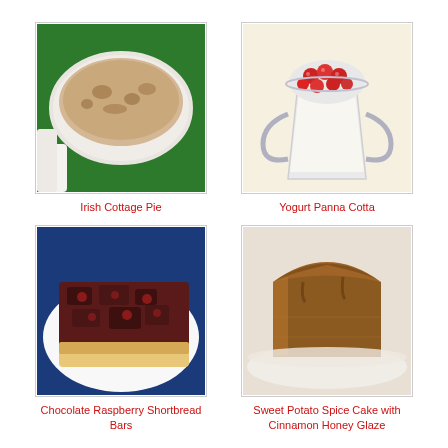[Figure (photo): Irish Cottage Pie in a white baking dish on green surface]
Irish Cottage Pie
[Figure (photo): Yogurt Panna Cotta in a glass cup topped with fresh strawberries]
Yogurt Panna Cotta
[Figure (photo): Chocolate Raspberry Shortbread Bars on a white plate with blue background]
Chocolate Raspberry Shortbread Bars
[Figure (photo): Sweet Potato Spice Cake with Cinnamon Honey Glaze - a slice of brown cake on a plate]
Sweet Potato Spice Cake with Cinnamon Honey Glaze